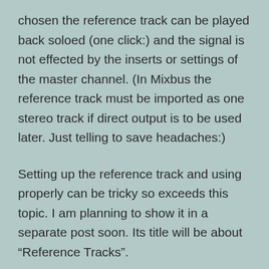chosen the reference track can be played back soloed (one click:) and the signal is not effected by the inserts or settings of the master channel. (In Mixbus the reference track must be imported as one stereo track if direct output is to be used later. Just telling to save headaches:)
Setting up the reference track and using properly can be tricky so exceeds this topic. I am planning to show it in a separate post soon. Its title will be about “Reference Tracks”.
7. High pass filtering (HPF) all tracks